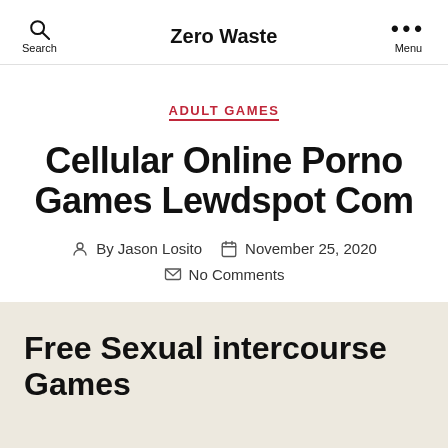Zero Waste
ADULT GAMES
Cellular Online Porno Games Lewdspot Com
By Jason Losito  November 25, 2020
No Comments
Free Sexual intercourse Games